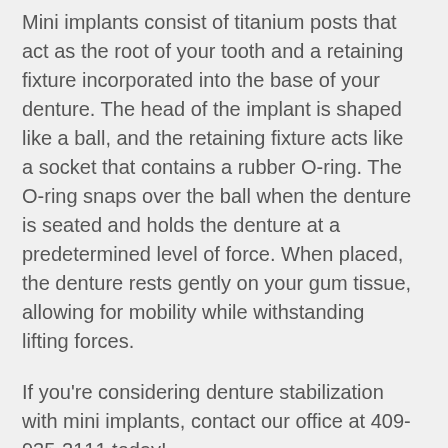Mini implants consist of titanium posts that act as the root of your tooth and a retaining fixture incorporated into the base of your denture. The head of the implant is shaped like a ball, and the retaining fixture acts like a socket that contains a rubber O-ring. The O-ring snaps over the ball when the denture is seated and holds the denture at a predetermined level of force. When placed, the denture rests gently on your gum tissue, allowing for mobility while withstanding lifting forces.
If you're considering denture stabilization with mini implants, contact our office at 409-935-2111 today!